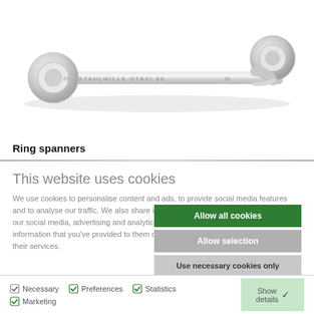[Figure (photo): A Stahlwille double ring spanner (box-end wrench) with offset heads, chrome finish, showing markings 'STAHLWILLE OTASI 80' on the shank. Two ring heads on each end.]
Ring spanners
This website uses cookies
We use cookies to personalise content and ads, to provide social media features and to analyse our traffic. We also share information about your use of our site with our social media, advertising and analytics partners who may combine it with other information that you've provided to them or that they've collected from your use of their services.
Allow all cookies
Allow selection
Use necessary cookies only
Necessary   Preferences   Statistics   Marketing   Show details